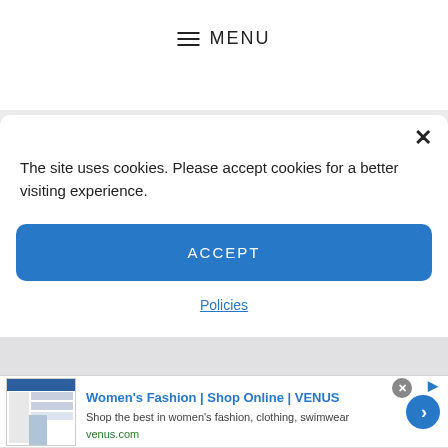≡ MENU
The site uses cookies. Please accept cookies for a better visiting experience.
ACCEPT
Policies
[Figure (screenshot): Advertisement banner for Women's Fashion | Shop Online | VENUS. Shows a thumbnail screenshot of the venus.com website with a woman in fashion apparel. Ad text: 'Women's Fashion | Shop Online | VENUS', 'Shop the best in women's fashion, clothing, swimwear', 'venus.com']